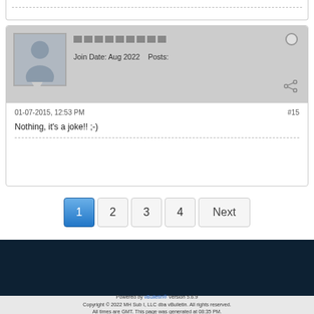[Figure (screenshot): Forum post card with avatar (silhouette), username bars, join date Aug 2022, posts field, online status dot, share icon]
01-07-2015, 12:53 PM
#15
Nothing, it's a joke!! ;-)
1 (current page, active)
2
3
4
Next
English (US)
Go to...
Powered by vBulletin® Version 5.6.9
Copyright © 2022 MH Sub I, LLC dba vBulletin. All rights reserved.
All times are GMT. This page was generated at 08:35 PM.